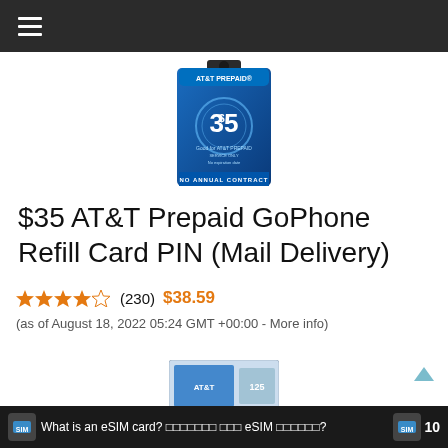Navigation menu header bar
[Figure (photo): AT&T Prepaid $35 refill card product image — blue card with AT&T Prepaid logo and $35 amount, NO ANNUAL CONTRACT text at bottom]
$35 AT&T Prepaid GoPhone Refill Card PIN (Mail Delivery)
★★★★☆ (230) $38.59 (as of August 18, 2022 05:24 GMT +00:00 - More info)
[Figure (photo): Partial view of another product card at the bottom of the page]
What is an eSIM card? □□□□□□□ □□□ eSIM □□□□□□? 10